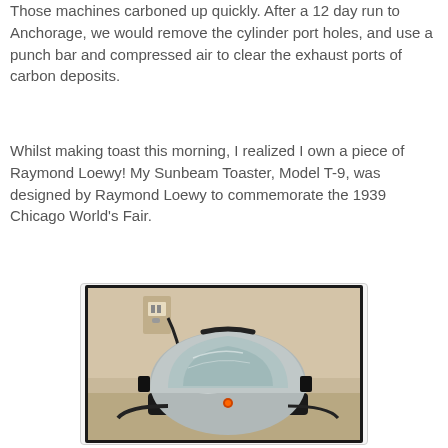Those machines carboned up quickly. After a 12 day run to Anchorage, we would remove the cylinder port holes, and use a punch bar and compressed air to clear the exhaust ports of carbon deposits.
Whilst making toast this morning, I realized I own a piece of Raymond Loewy! My Sunbeam Toaster, Model T-9, was designed by Raymond Loewy to commemorate the 1939 Chicago World's Fair.
[Figure (photo): Photo of a Sunbeam Toaster Model T-9 with a chrome dome-shaped body and transparent glass top, black base, sitting on a counter with a wall outlet visible in the background.]